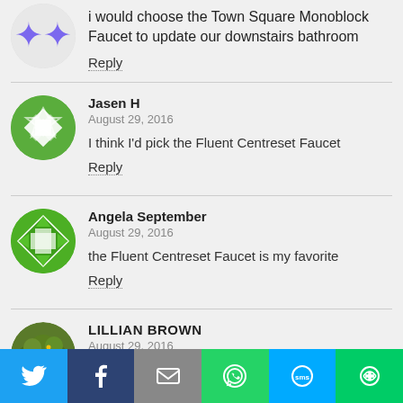i would choose the Town Square Monoblock Faucet to update our downstairs bathroom
Reply
Jasen H
August 29, 2016
I think I'd pick the Fluent Centreset Faucet
Reply
Angela September
August 29, 2016
the Fluent Centreset Faucet is my favorite
Reply
LILLIAN BROWN
August 29, 2016